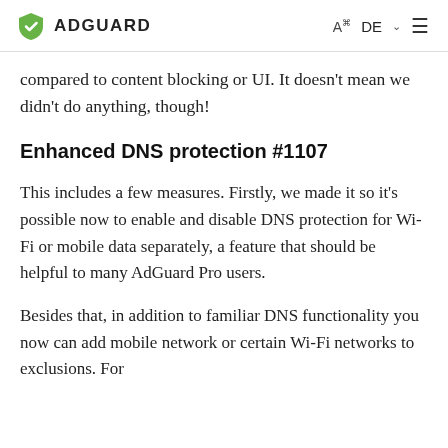ADGUARD  A  DE  ≡
compared to content blocking or UI. It doesn't mean we didn't do anything, though!
Enhanced DNS protection #1107
This includes a few measures. Firstly, we made it so it's possible now to enable and disable DNS protection for Wi-Fi or mobile data separately, a feature that should be helpful to many AdGuard Pro users.
Besides that, in addition to familiar DNS functionality you now can add mobile network or certain Wi-Fi networks to exclusions. For